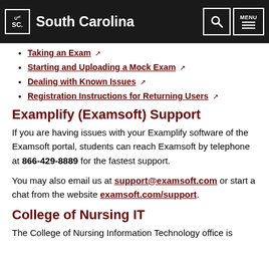University of South Carolina
Taking an Exam [external link]
Starting and Uploading a Mock Exam [external link]
Dealing with Known Issues [external link]
Registration Instructions for Returning Users [external link]
Examplify (Examsoft) Support
If you are having issues with your Examplify software of the Examsoft portal, students can reach Examsoft by telephone at 866-429-8889 for the fastest support.
You may also email us at support@examsoft.com or start a chat from the website examsoft.com/support.
College of Nursing IT
The College of Nursing Information Technology office is